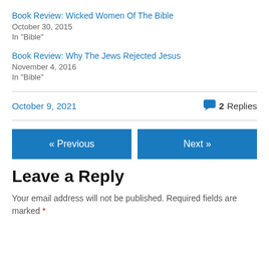Book Review: Wicked Women Of The Bible
October 30, 2015
In "Bible"
Book Review: Why The Jews Rejected Jesus
November 4, 2016
In "Bible"
October 9, 2021
2 Replies
« Previous
Next »
Leave a Reply
Your email address will not be published. Required fields are marked *